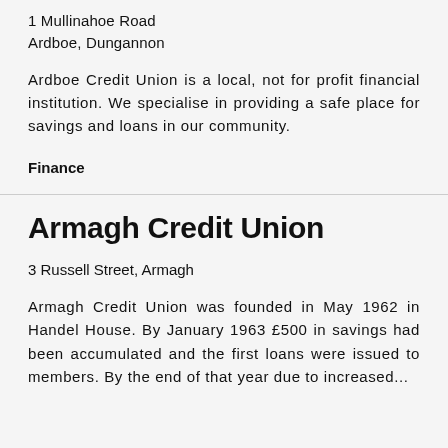1 Mullinahoe Road
Ardboe, Dungannon
Ardboe Credit Union is a local, not for profit financial institution. We specialise in providing a safe place for savings and loans in our community.
Finance
Armagh Credit Union
3 Russell Street, Armagh
Armagh Credit Union was founded in May 1962 in Handel House. By January 1963 £500 in savings had been accumulated and the first loans were issued to members. By the end of that year due to increased...